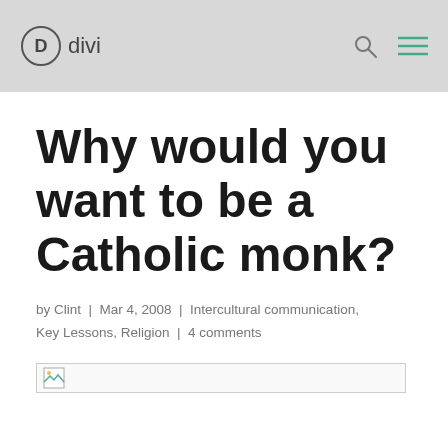divi
Why would you want to be a Catholic monk?
by Clint | Mar 4, 2008 | Intercultural communication, Key Lessons, Religion | 4 comments
[Figure (photo): Broken image placeholder at the bottom of the article header area]